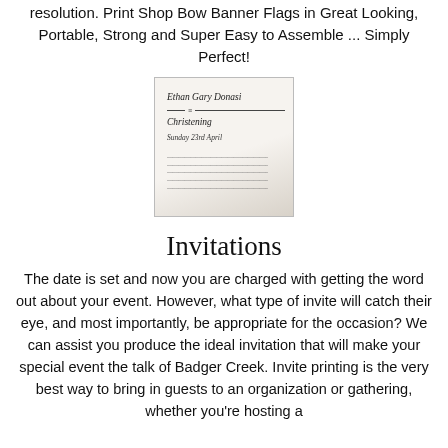resolution. Print Shop Bow Banner Flags in Great Looking, Portable, Strong and Super Easy to Assemble ... Simply Perfect!
[Figure (photo): A christening invitation card showing cursive script text: 'Ethan Gary Donasi Christening Sunday 23rd April' with decorative divider lines and smaller text below.]
Invitations
The date is set and now you are charged with getting the word out about your event. However, what type of invite will catch their eye, and most importantly, be appropriate for the occasion? We can assist you produce the ideal invitation that will make your special event the talk of Badger Creek. Invite printing is the very best way to bring in guests to an organization or gathering, whether you're hosting a